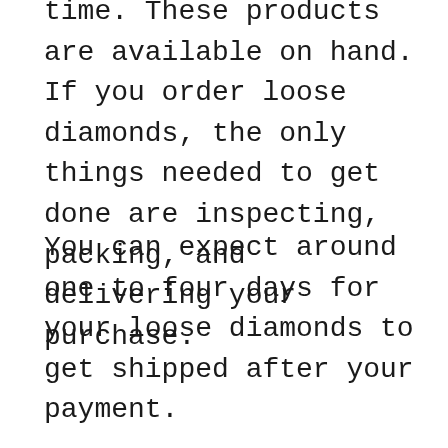time. These products are available on hand. If you order loose diamonds, the only things needed to get done are inspecting, packing, and delivering your purchase.
You can expect around one to four days for your loose diamonds to get shipped after your payment.